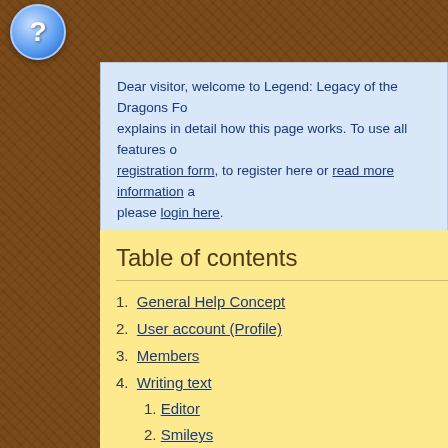[Figure (illustration): Blue circular question mark icon/button at top left of page]
Dear visitor, welcome to Legend: Legacy of the Dragons Fo... explains in detail how this page works. To use all features o... registration form, to register here or read more information a... please login here.
Table of contents
1. General Help Concept
2. User account (Profile)
3. Members
4. Writing text
1. Editor
2. Smileys
3. BBCodes
4.3. BBC
Use bbcode... use.
4.3.1. Fo
[font='Font fa... family of you... be displayed... font to be in...
4.3.2. Fo